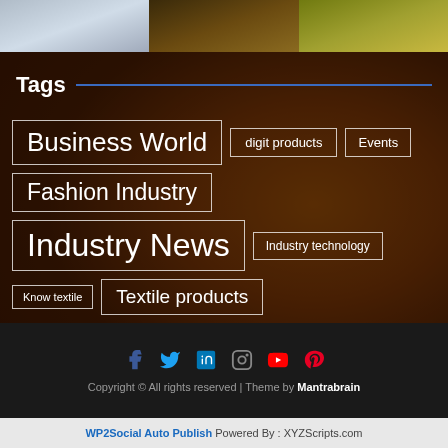[Figure (photo): Three top images: hands on calculator, coins/jar, yellow/green background items]
[Figure (photo): Background portrait of a woman with closed eyes, brownish warm tone overlay]
Tags
Business World
digit products
Events
Fashion Industry
Industry News
Industry technology
Know textile
Textile products
[Figure (infographic): Social media icons row: Facebook, Twitter, LinkedIn, Instagram, YouTube, Pinterest]
Copyright © All rights reserved | Theme by Mantrabrain
WP2Social Auto Publish Powered By : XYZScripts.com